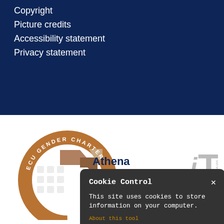Copyright
Picture credits
Accessibility statement
Privacy statement
[Figure (logo): Athena SWAN ECU Gender Charter Bronze Award logo — circular bronze ring with arrow motifs and text around ring]
[Figure (screenshot): Cookie Control popup — dark grey rounded box with title 'Cookie Control', close X button, body text 'This site uses cookies to store information on your computer.', 'About this tool' link in orange, and 'read more' button]
[Figure (logo): Oxford Mosaic 'powered by' logo with 'OXFORD MOSAIC' text in grey]
[Figure (logo): IT Services logo — italic 'i' with large grey 'T' and vertical 'services' text]